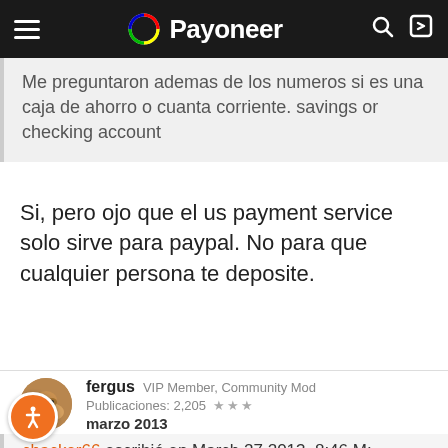Payoneer
Me preguntaron ademas de los numeros si es una caja de ahorro o cuanta corriente. savings or checking account
Si, pero ojo que el us payment service solo sirve para paypal. No para que cualquier persona te deposite.
fergus  VIP Member, Community Mod
Publicaciones: 2,205  ★★★
marzo 2013
chacker66 escribió en March 27 2013, 8:46 M: »
tienen idea a cuant ocambian las casas en